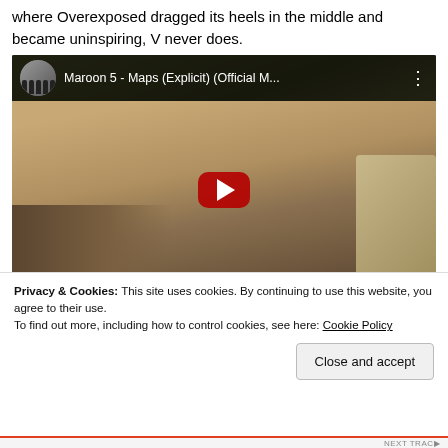where Overexposed dragged its heels in the middle and became uninspiring, V never does.
[Figure (screenshot): Embedded YouTube video thumbnail showing Maroon 5 - Maps (Explicit) (Official M... with a man's face in the frame, vevo logo bottom left, red play button in center]
Privacy & Cookies: This site uses cookies. By continuing to use this website, you agree to their use.
To find out more, including how to control cookies, see here: Cookie Policy
Close and accept